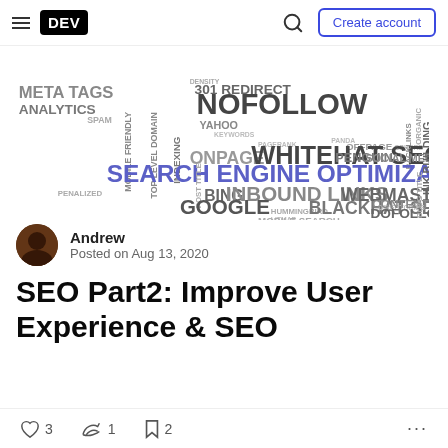DEV — Create account
[Figure (illustration): SEO word cloud featuring terms like SEARCH ENGINE OPTIMIZATION, NOFOLLOW, WHITEHAT SEO, INBOUND LINKS, WEBMASTERS TOOL, BLACKHAT SEO, GOOGLE, BING, 301 REDIRECT, META TAGS, ANALYTICS, CONTENT, DOFOLLOW, LINK BUILDING, SOCIAL MEDIA, PENGUIN, and others in varying sizes and gray/purple colors]
Andrew
Posted on Aug 13, 2020
SEO Part2: Improve User Experience & SEO
♡ 3   🔥 1   🔖 2   ...